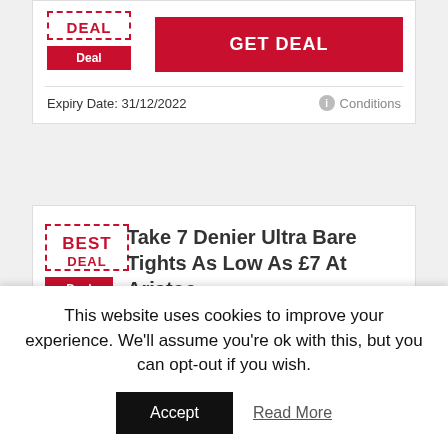[Figure (screenshot): Deal badge with dashed red border showing 'DEAL' text in red and a red 'Deal' button below]
GET DEAL
Expiry Date: 31/12/2022
Conditions
[Figure (screenshot): Best Deal badge with dashed red border showing 'BEST' and 'DEAL' text in red, with red 'Deal' button below]
Take 7 Denier Ultra Bare Tights As Low As £7 At Aristoc
This website uses cookies to improve your experience. We'll assume you're ok with this, but you can opt-out if you wish.
Accept
Read More